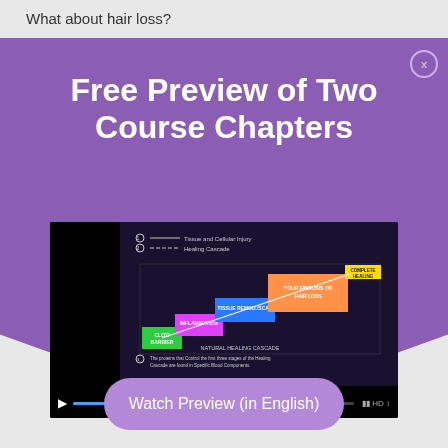What about hair loss?
Free Preview of Two Course Chapters
[Figure (screenshot): A video player showing an educational diagram about healing cascade stages with colored blocks (green, magenta, blue, orange) on a dark background, with playback controls and HD indicator at the bottom.]
Watch Preview (in English)